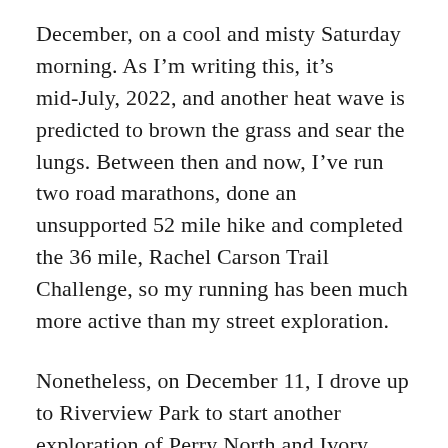December, on a cool and misty Saturday morning. As I'm writing this, it's mid-July, 2022, and another heat wave is predicted to brown the grass and sear the lungs. Between then and now, I've run two road marathons, done an unsupported 52 mile hike and completed the 36 mile, Rachel Carson Trail Challenge, so my running has been much more active than my street exploration.
Nonetheless, on December 11, I drove up to Riverview Park to start another exploration of Perry North and Ivory Avenue. I had several goals; finish Groyne Street, climb Mike Wolff Drive, explore Zane Place to the Zth degree, tool around Adna Place, and pick my way down